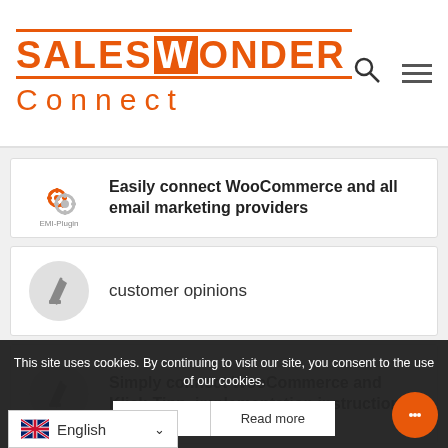[Figure (logo): SalesWonder Connect logo in orange with search and hamburger menu icons]
Easily connect WooCommerce and all email marketing providers
customer opinions
Simply connect WooCommerce and Klick-Tipp, implementation instructions
This site uses cookies. By continuing to visit our site, you consent to the use of our cookies.
Ok
Read more
English